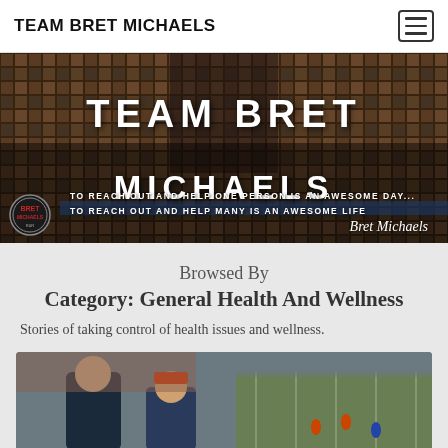TEAM BRET MICHAELS
[Figure (photo): Team Bret Michaels hero banner with large text overlay 'TEAM BRET MICHAELS' and quotes 'To reach out and help one person is an awesome day... To reach out and help many is an awesome life' with Bret Michaels signature and logo]
Browsed By
Category: General Health And Wellness
Stories of taking control of health issues and wellness.
[Figure (photo): Article thumbnail showing two people at what appears to be a sporting event or football game]